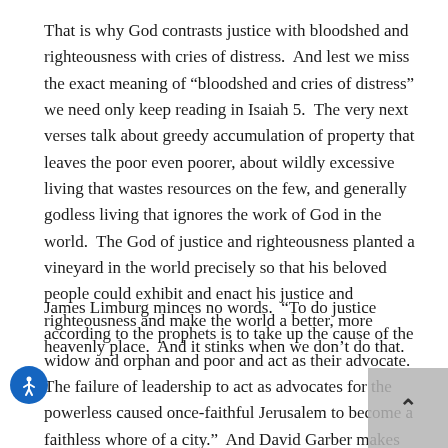That is why God contrasts justice with bloodshed and righteousness with cries of distress.  And lest we miss the exact meaning of “bloodshed and cries of distress” we need only keep reading in Isaiah 5.  The very next verses talk about greedy accumulation of property that leaves the poor even poorer, about wildly excessive living that wastes resources on the few, and generally godless living that ignores the work of God in the world.  The God of justice and righteousness planted a vineyard in the world precisely so that his beloved people could exhibit and enact his justice and righteousness and make the world a better, more heavenly place.  And it stinks when we don’t do that.
James Limburg minces no words.  “To do justice according to the prophets is to take up the cause of the widow and orphan and poor and act as their advocate.  The failure of leadership to act as advocates for the powerless caused once-faithful Jerusalem to become a faithless whore of a city.”  And David Garber makes us squirm when he writes: “In congregations of privilege, this passage becomes a challenge. Are we using our privilege to